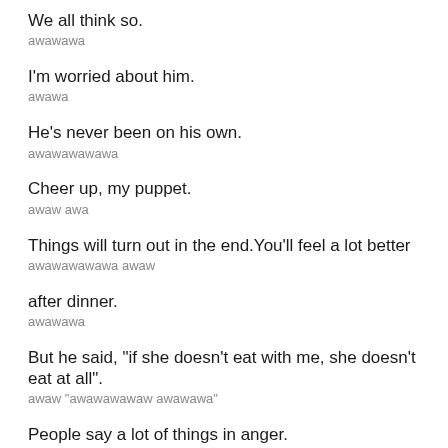We all think so.
awawawa
I'm worried about him.
awawa
He's never been on his own.
awawawawawa
Cheer up, my puppet.
awaw awa
Things will turn out in the end.You'll feel a lot better
awawawawawa awaw
after dinner.
awawawa
But he said, "if she doesn't eat with me, she doesn't eat at all".
awaw "awawawawaw awawawa"
People say a lot of things in anger.
awawawawawa
It is our choice whether or not to listen.